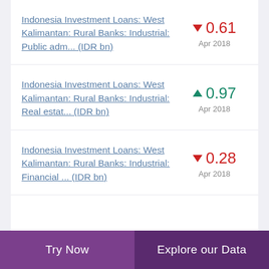Indonesia Investment Loans: West Kalimantan: Rural Banks: Industrial: Public adm... (IDR bn) ▼ 0.61 Apr 2018
Indonesia Investment Loans: West Kalimantan: Rural Banks: Industrial: Real estat... (IDR bn) ▲ 0.97 Apr 2018
Indonesia Investment Loans: West Kalimantan: Rural Banks: Industrial: Financial ... (IDR bn) ▼ 0.28 Apr 2018
Try Now | Explore our Data